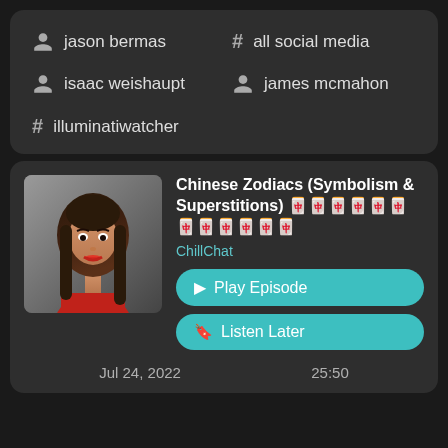jason bermas
# all social media
isaac weishaupt
james mcmahon
# illuminatiwatcher
[Figure (photo): Thumbnail photo of a young woman with long brown hair wearing a red top, used as podcast episode artwork]
Chinese Zodiacs (Symbolism & Superstitions) 🀀🀁🀂🀃🀄🀅🀆🀇🀈🀉🀊🀋
ChillChat
▶ Play Episode
🔖 Listen Later
Jul 24, 2022   25:50